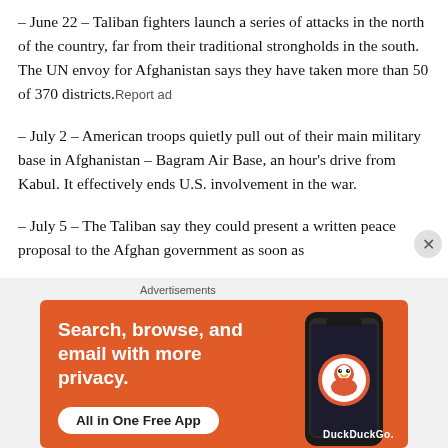– June 22 – Taliban fighters launch a series of attacks in the north of the country, far from their traditional strongholds in the south. The UN envoy for Afghanistan says they have taken more than 50 of 370 districts.Report ad
– July 2 – American troops quietly pull out of their main military base in Afghanistan – Bagram Air Base, an hour's drive from Kabul. It effectively ends U.S. involvement in the war.
– July 5 – The Taliban say they could present a written peace proposal to the Afghan government as soon as [continues below fold]
[Figure (infographic): DuckDuckGo advertisement banner with orange background. Text reads: 'Search, browse, and email with more privacy. All in One Free App' with a DuckDuckGo logo and a smartphone image. Labeled 'Advertisements' above.]